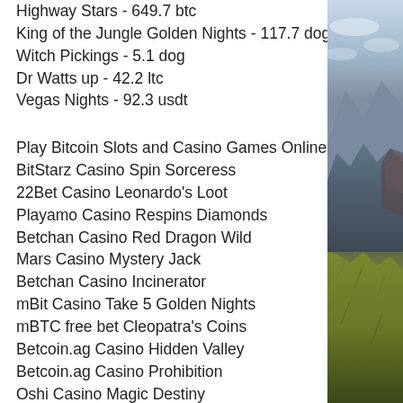Highway Stars - 649.7 btc
King of the Jungle Golden Nights - 117.7 dog
Witch Pickings - 5.1 dog
Dr Watts up - 42.2 ltc
Vegas Nights - 92.3 usdt
Play Bitcoin Slots and Casino Games Online:
BitStarz Casino Spin Sorceress
22Bet Casino Leonardo's Loot
Playamo Casino Respins Diamonds
Betchan Casino Red Dragon Wild
Mars Casino Mystery Jack
Betchan Casino Incinerator
mBit Casino Take 5 Golden Nights
mBTC free bet Cleopatra's Coins
Betcoin.ag Casino Hidden Valley
Betcoin.ag Casino Prohibition
Oshi Casino Magic Destiny
FortuneJack Casino Tribe
mBTC free bet Mystery Planet
[Figure (photo): Mountain landscape photo showing hills with vegetation under a cloudy sky, viewed from an elevated perspective.]